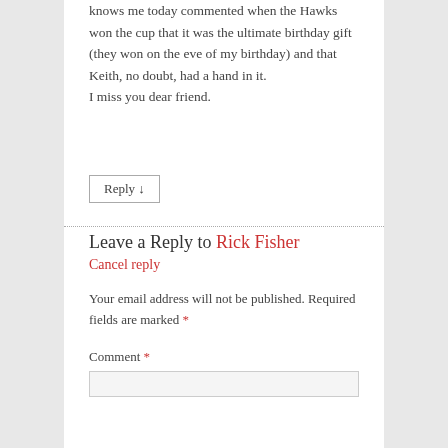knows me today commented when the Hawks won the cup that it was the ultimate birthday gift (they won on the eve of my birthday) and that Keith, no doubt, had a hand in it.
I miss you dear friend.
Reply ↓
Leave a Reply to Rick Fisher
Cancel reply
Your email address will not be published. Required fields are marked *
Comment *